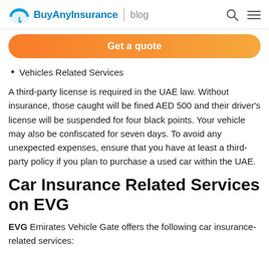BuyAnyInsurance | blog
Get a quote
Vehicles Related Services
A third-party license is required in the UAE law. Without insurance, those caught will be fined AED 500 and their driver's license will be suspended for four black points. Your vehicle may also be confiscated for seven days. To avoid any unexpected expenses, ensure that you have at least a third-party policy if you plan to purchase a used car within the UAE.
Car Insurance Related Services on EVG
EVG Emirates Vehicle Gate offers the following car insurance-related services: